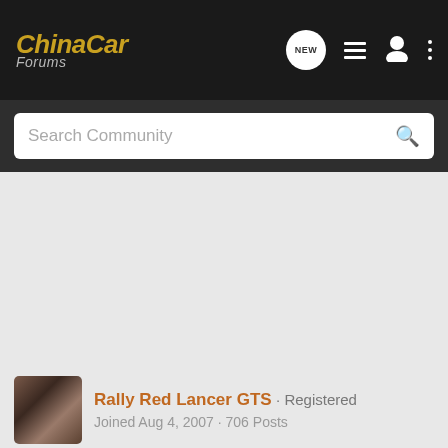ChinaCar Forums
Search Community
Rally Red Lancer GTS · Registered
Joined Aug 4, 2007 · 706 Posts
#13 · Jul 11, 2008